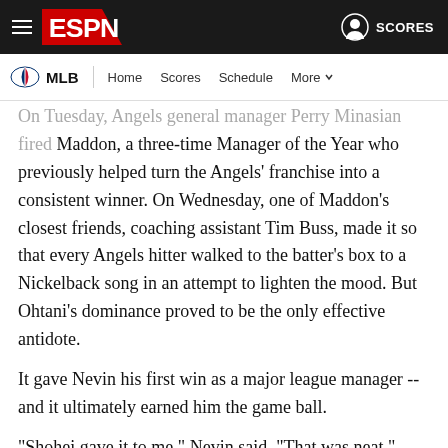ESPN - MLB - Home Scores Schedule More
On Tuesday, Angels general manager Perry Minasian fired Maddon, a three-time Manager of the Year who previously helped turn the Angels' franchise into a consistent winner. On Wednesday, one of Maddon's closest friends, coaching assistant Tim Buss, made it so that every Angels hitter walked to the batter's box to a Nickelback song in an attempt to lighten the mood. But Ohtani's dominance proved to be the only effective antidote.
It gave Nevin his first win as a major league manager -- and it ultimately earned him the game ball.
"Shohei gave it to me," Nevin said. "That was neat."
[Figure (other): Social sharing icons: Facebook, Twitter, Messenger, WhatsApp, Email]